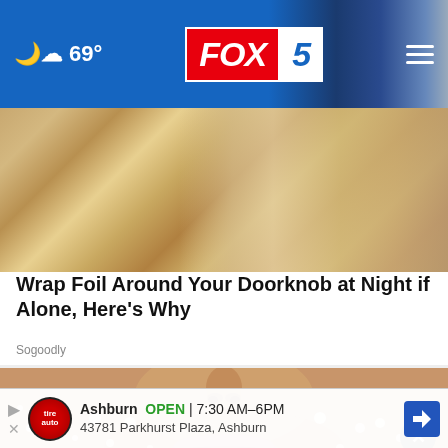69° FOX 5
[Figure (photo): Close-up photo of a doorknob on a wooden door with golden/brown tones]
Wrap Foil Around Your Doorknob at Night if Alone, Here's Why
Sogoodly
[Figure (photo): Close-up photo of a person's face covered in salt crystals, showing nose and lips prominently]
Ashburn OPEN | 7:30 AM–6PM
43781 Parkhurst Plaza, Ashburn